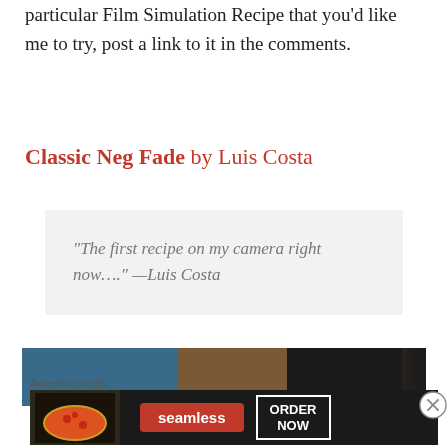particular Film Simulation Recipe that you'd like me to try, post a link to it in the comments.
Classic Neg Fade by Luis Costa
“The first recipe on my camera right now....” —Luis Costa
[Figure (photo): Partial photo strip showing a blue and brown/dark background scene]
Advertisements
[Figure (screenshot): Seamless food delivery advertisement banner with pizza image, Seamless logo, and ORDER NOW button]